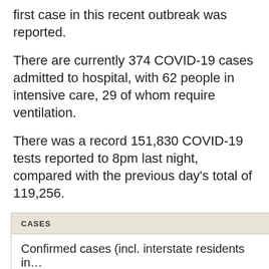first case in this recent outbreak was reported.
There are currently 374 COVID-19 cases admitted to hospital, with 62 people in intensive care, 29 of whom require ventilation.
There was a record 151,830 COVID-19 tests reported to 8pm last night, compared with the previous day’s total of 119,256.
| Cases |  |  |
| --- | --- | --- |
| Confirmed cases (incl. interstate residents in… |  |  |
| Deaths (in NSW from confirmed cases) |  |  |
| Total tests carried out |  |  |